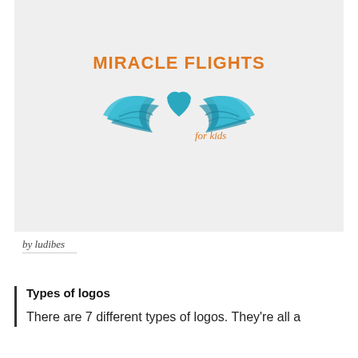[Figure (logo): Miracle Flights for kids logo: bold orange uppercase text 'MIRACLE FLIGHTS' above teal/blue illustrated wings with a heart shape, and cursive orange text 'for kids' at lower right]
by ludibes
Types of logos
There are 7 different types of logos. They're all a